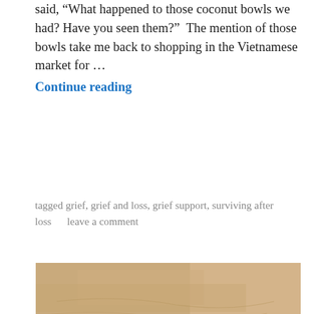said, “What happened to those coconut bowls we had? Have you seen them?”  The mention of those bowls take me back to shopping in the Vietnamese market for … Continue reading
tagged grief, grief and loss, grief support, surviving after loss       leave a comment
[Figure (photo): Aerial satellite photograph showing a desert/arid landscape with sandy/brown terrain on the upper portion and large white cloud formations sweeping across the lower portion, with dark ocean visible in the lower right corner.]